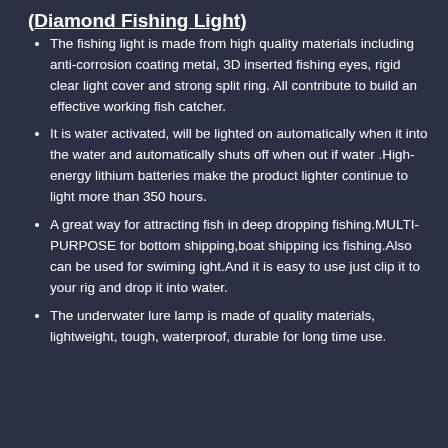(Diamond Fishing Light)
The fishing light is made from high quality materials including anti-corrosion coating metal, 3D inserted fishing eyes, rigid clear light cover and strong split ring. All contribute to build an effective working fish catcher.
It is water activated, will be lighted on automatically when it into the water and automatically shuts off when out if water .High-energy lithium batteries make the product lighter continue to light more than 350 hours.
A great way for attracting fish in deep dropping fishing.MULTI-PURPOSE for bottom shipping,boat shipping ics fishing.Also can be used for swiming ight.And it is easy to use just clip it to your rig and drop it into water.
The underwater lure lamp is made of quality materials, lightweight, tough, waterproof, durable for long time use.